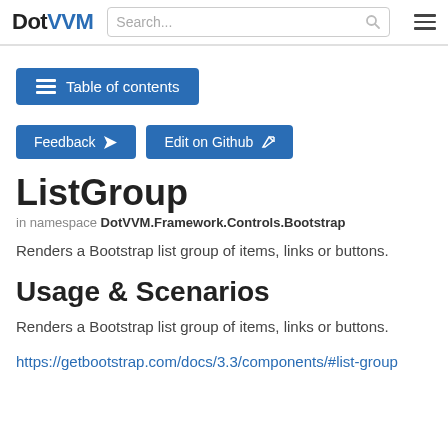DotVVM | Search...
Table of contents
Feedback   Edit on Github
ListGroup
in namespace DotVVM.Framework.Controls.Bootstrap
Renders a Bootstrap list group of items, links or buttons.
Usage & Scenarios
Renders a Bootstrap list group of items, links or buttons.
https://getbootstrap.com/docs/3.3/components/#list-group